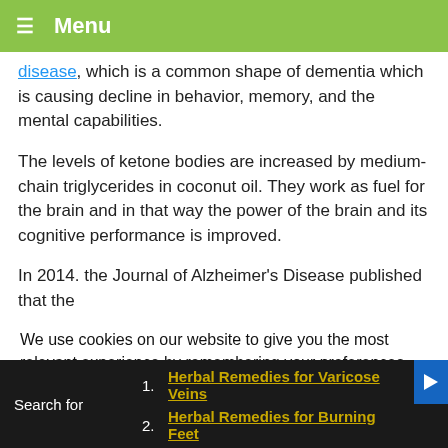≡ Menu
disease, which is a common shape of dementia which is causing decline in behavior, memory, and the mental capabilities.
The levels of ketone bodies are increased by medium-chain triglycerides in coconut oil. They work as fuel for the brain and in that way the power of the brain and its cognitive performance is improved.
In 2014. the Journal of Alzheimer's Disease published that the
We use cookies on our website to give you the most relevant experience by remembering your preferences and repeat visits. By clicking “Accept”, you consent to the use of ALL the cookies.
Do not sell my personal information.
Search for
1. Herbal Remedies for Varicose Veins
2. Herbal Remedies for Burning Feet